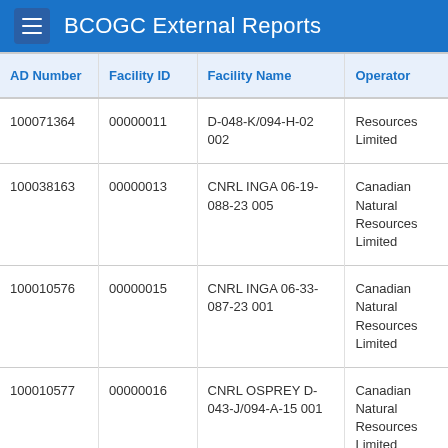BCOGC External Reports
| AD Number | Facility ID | Facility Name | Operator |
| --- | --- | --- | --- |
| 100071364 | 00000011 | D-048-K/094-H-02 002 | Resources Limited |
| 100038163 | 00000013 | CNRL INGA 06-19-088-23 005 | Canadian Natural Resources Limited |
| 100010576 | 00000015 | CNRL INGA 06-33-087-23 001 | Canadian Natural Resources Limited |
| 100010577 | 00000016 | CNRL OSPREY D-043-J/094-A-15 001 | Canadian Natural Resources Limited |
| 100010578 | 00000017 | SECURE FORTSTJOHNSE 15-05-083-17 001 | Secure Energy Services Inc. |